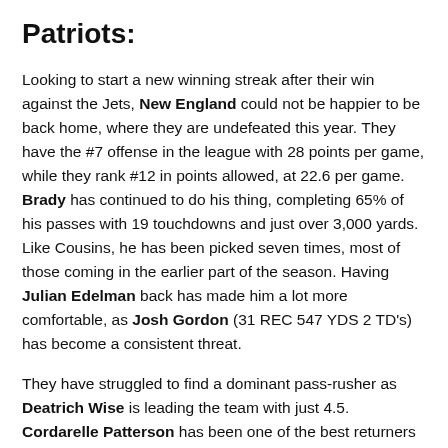Patriots:
Looking to start a new winning streak after their win against the Jets, New England could not be happier to be back home, where they are undefeated this year. They have the #7 offense in the league with 28 points per game, while they rank #12 in points allowed, at 22.6 per game. Brady has continued to do his thing, completing 65% of his passes with 19 touchdowns and just over 3,000 yards. Like Cousins, he has been picked seven times, most of those coming in the earlier part of the season. Having Julian Edelman back has made him a lot more comfortable, as Josh Gordon (31 REC 547 YDS 2 TD's) has become a consistent threat.
They have struggled to find a dominant pass-rusher as Deatrich Wise is leading the team with just 4.5. Cordarelle Patterson has been one of the best returners in the league, and he now visits his old team in